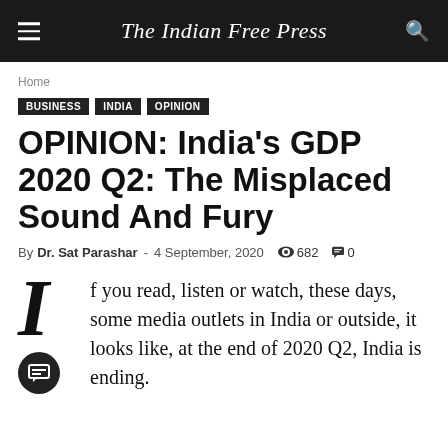The Indian Free Press
Home
BUSINESS   INDIA   OPINION
OPINION: India's GDP 2020 Q2: The Misplaced Sound And Fury
By Dr. Sat Parashar - 4 September, 2020  682  0
f you read, listen or watch, these days, some media outlets in India or outside, it looks like, at the end of 2020 Q2, India is ending.